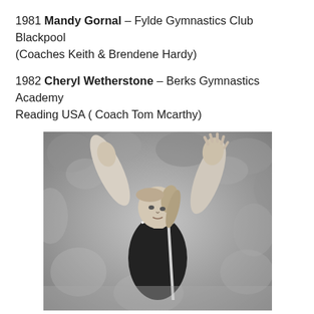1981 Mandy Gornal – Fylde Gymnastics Club Blackpool (Coaches Keith & Brendene Hardy)
1982 Cheryl Wetherstone – Berks Gymnastics Academy Reading USA ( Coach Tom Mcarthy)
[Figure (photo): Black and white photograph of a female gymnast with arms raised, wearing a dark leotard with white trim, hair in ponytail, performing a floor routine in front of a blurred crowd.]